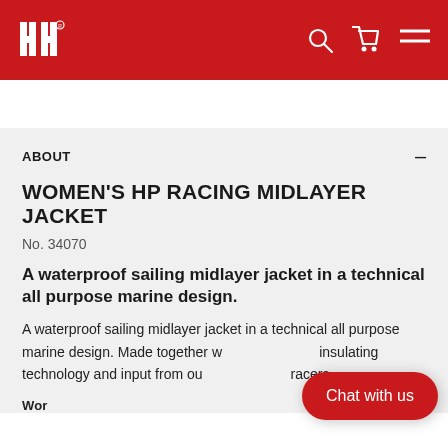HH® [logo] [search icon] [cart icon] [menu icon]
ABOUT
WOMEN'S HP RACING MIDLAYER JACKET
No. 34070
A waterproof sailing midlayer jacket in a technical all purpose marine design.
A waterproof sailing midlayer jacket in a technical all purpose marine design. Made together with insulating technology and input from our racers.
Chat with us